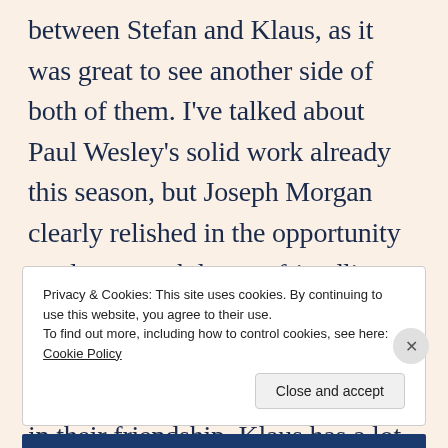between Stefan and Klaus, as it was great to see another side of both of them. I've talked about Paul Wesley's solid work already this season, but Joseph Morgan clearly relished in the opportunity to play a much looser, friendlier Klaus. Obviously Klaus is a villain and 1920s Stefan is pretty awful and yet, I was quickly wrapped up in their friendship. Klaus has a lot of issues
Privacy & Cookies: This site uses cookies. By continuing to use this website, you agree to their use.
To find out more, including how to control cookies, see here: Cookie Policy
Close and accept